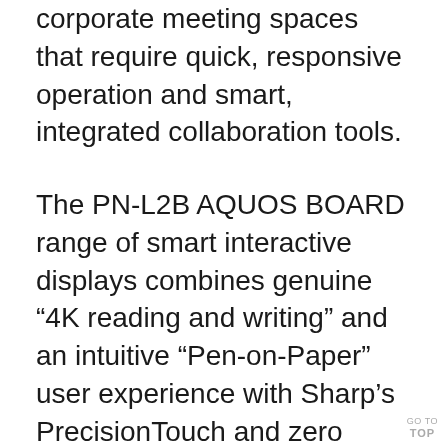corporate meeting spaces that require quick, responsive operation and smart, integrated collaboration tools.
The PN-L2B AQUOS BOARD range of smart interactive displays combines genuine “4K reading and writing” and an intuitive “Pen-on-Paper” user experience with Sharp’s PrecisionTouch and zero bonding technology. The single USB-C connector makes it simple to walk into a room, plug in your device and start collaborating straightaway. In addition, a built-in wireless connectivity application allows users to wirelessly present the
GO TO TOP